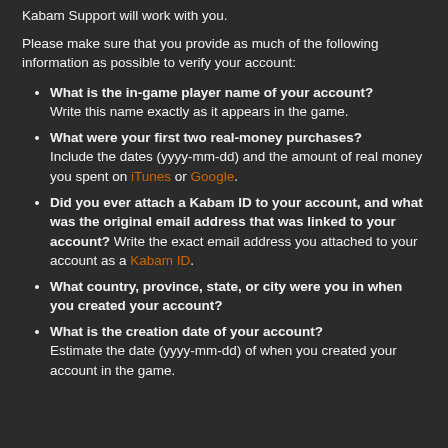Kabam Support will work with you.
Please make sure that you provide as much of the following information as possible to verify your account:
What is the in-game player name of your account? Write this name exactly as it appears in the game.
What were your first two real-money purchases? Include the dates (yyyy-mm-dd) and the amount of real money you spent on iTunes or Google.
Did you ever attach a Kabam ID to your account, and what was the original email address that was linked to your account? Write the exact email address you attached to your account as a Kabam ID.
What country, province, state, or city were you in when you created your account?
What is the creation date of your account? Estimate the date (yyyy-mm-dd) of when you created your account in the game.